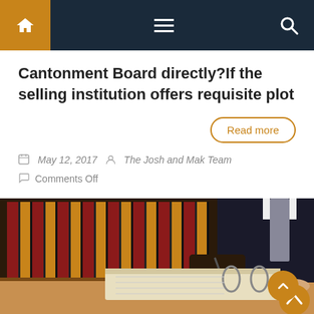Navigation bar with home, menu, and search icons
Cantonment Board directly?If the selling institution offers requisite plot
Read more
May 12, 2017   The Josh and Mak Team
Comments Off
[Figure (photo): A lawyer or professional in a dark suit writing in a legal binder/notebook, with law books in the background on a wooden desk]